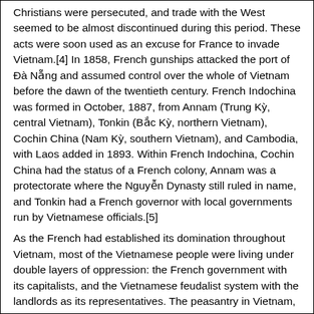Christians were persecuted, and trade with the West seemed to be almost discontinued during this period. These acts were soon used as an excuse for France to invade Vietnam.[4] In 1858, French gunships attacked the port of Đà Nẵng and assumed control over the whole of Vietnam before the dawn of the twentieth century. French Indochina was formed in October, 1887, from Annam (Trung Kỳ, central Vietnam), Tonkin (Bắc Kỳ, northern Vietnam), Cochin China (Nam Kỳ, southern Vietnam), and Cambodia, with Laos added in 1893. Within French Indochina, Cochin China had the status of a French colony, Annam was a protectorate where the Nguyễn Dynasty still ruled in name, and Tonkin had a French governor with local governments run by Vietnamese officials.[5]
As the French had established its domination throughout Vietnam, most of the Vietnamese people were living under double layers of oppression: the French government with its capitalists, and the Vietnamese feudalist system with the landlords as its representatives. The peasantry in Vietnam, who were already poor, now became poorer and lost their lands because of the policies favoring the landlords which were made by the feudalist government at the end of the